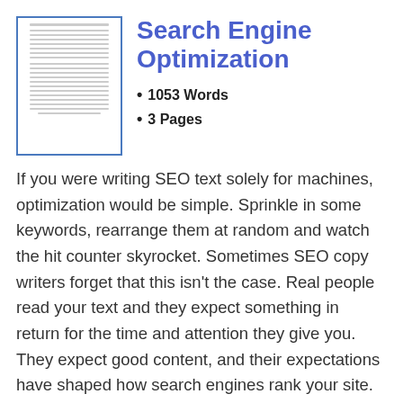[Figure (illustration): Thumbnail preview of a text document with lines of grey text simulating a written essay]
Search Engine Optimization
1053 Words
3 Pages
If you were writing SEO text solely for machines, optimization would be simple. Sprinkle in some keywords, rearrange them at random and watch the hit counter skyrocket. Sometimes SEO copy writers forget that this isn't the case. Real people read your text and they expect something in return for the time and attention they give you. They expect good content, and their expectations have shaped how search engines rank your site. What Is Good Content? Good SEO content has three primary characteristics:...